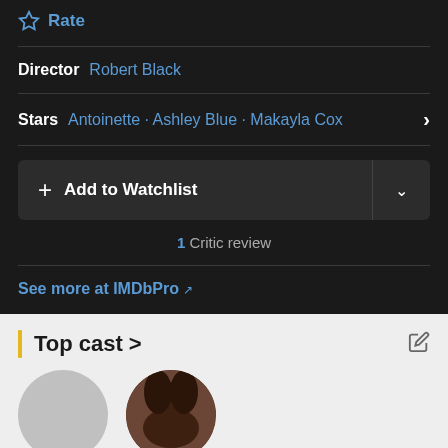Rate
Director  Robert Black
Stars  Antoinette · Ashley Blue · Makayla Cox
+ Add to Watchlist
1 Critic review
See more at IMDbPro
Top cast >
[Figure (photo): Two circular cast member photos at the bottom of the page, one light grey placeholder and one showing a person with dark hair]